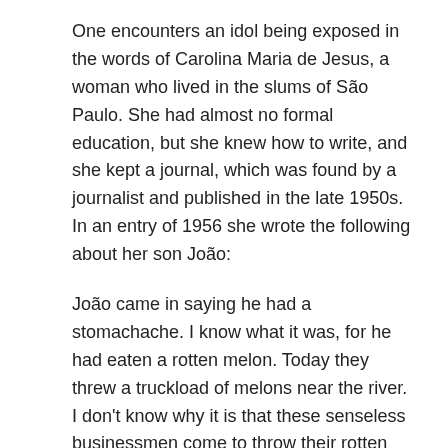One encounters an idol being exposed in the words of Carolina Maria de Jesus, a woman who lived in the slums of São Paulo. She had almost no formal education, but she knew how to write, and she kept a journal, which was found by a journalist and published in the late 1950s. In an entry of 1956 she wrote the following about her son João:
João came in saying he had a stomachache. I know what it was, for he had eaten a rotten melon. Today they threw a truckload of melons near the river. I don't know why it is that these senseless businessmen come to throw their rotten products near the favela [shantytown] for the children to see and eat. In my opinion, the merchants of São Paulo are playing with the people like Caesar when he tortured Christians. But the Caesars of today are worse than the Caesars of the past. The others were punished for their faith. But we, for our hunger! In that era,